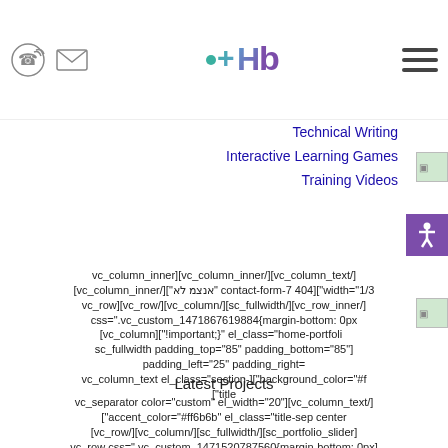[Figure (screenshot): Website header with phone icon, email icon, logo (+b style), and hamburger menu icon]
Technical Writing
Interactive Learning Games
Training Videos
vc_column_inner][vc_column_inner/][vc_column_text/]
[vc_column_inner/]["אנצמ לא" contact-form-7 404]["width="1/3
vc_row][vc_row/][vc_column/][sc_fullwidth/][vc_row_inner/]
css=".vc_custom_1471867619884{margin-bottom: 0px
[vc_column]["!important;}" el_class="home-portfolio
sc_fullwidth padding_top="85" padding_bottom="85"]
padding_left="25" padding_right=
vc_column_text el_class="section-]["background_color="#f
["title
Latest Projects
vc_separator color="custom" el_width="20"][vc_column_text/]
["accent_color="#ff6b6b" el_class="title-sep center
[vc_row/][vc_column/][sc_fullwidth/][sc_portfolio_slider]
vc_row css=".vc_custom_1471520787560{margin-bottom: 0px]
[vc_column]["!important;}" el_class="home-slideshow-link
sc_fullwidth background_style="cover" container="1"]
padding_top="140" padding_bottom="140" padding_left="25"
["padding_right="25" background_image="11017
Ho... add background_fill_color="1" content="["1